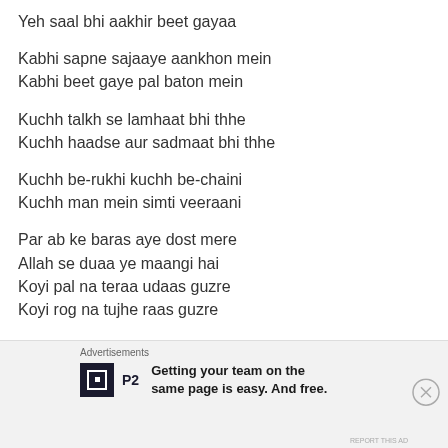Yeh saal bhi aakhir beet gayaa
Kabhi sapne sajaaye aankhon mein
Kabhi beet gaye pal baton mein
Kuchh talkh se lamhaat bhi thhe
Kuchh haadse aur sadmaat bhi thhe
Kuchh be-rukhi kuchh be-chaini
Kuchh man mein simti veeraani
Par ab ke baras aye dost mere
Allah se duaa ye maangi hai
Koyi pal na teraa udaas guzre
Koyi rog na tujhe raas guzre
Advertisements
Getting your team on the same page is easy. And free.